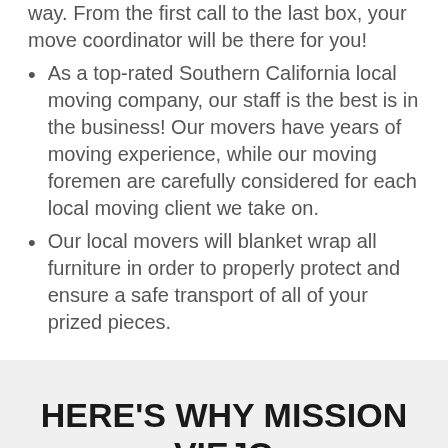way. From the first call to the last box, your move coordinator will be there for you!
As a top-rated Southern California local moving company, our staff is the best is in the business! Our movers have years of moving experience, while our moving foremen are carefully considered for each local moving client we take on.
Our local movers will blanket wrap all furniture in order to properly protect and ensure a safe transport of all of your prized pieces.
HERE'S WHY MISSION VIEJO TRUSTS US…
Fully licensed & insured with state of California